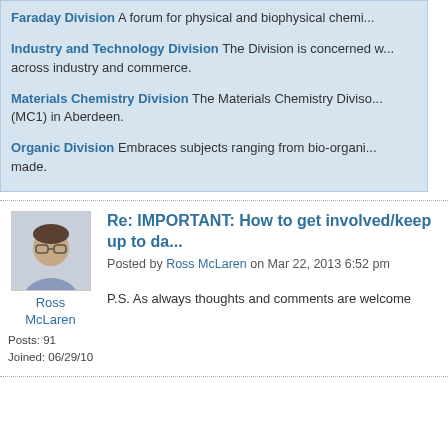Faraday Division A forum for physical and biophysical chemi...
Industry and Technology Division The Division is concerned with... across industry and commerce.
Materials Chemistry Division The Materials Chemistry Diviso... (MC1) in Aberdeen.
Organic Division Embraces subjects ranging from bio-organi... made.
Re: IMPORTANT: How to get involved/keep up to da...
Posted by Ross McLaren on Mar 22, 2013 6:52 pm
P.S. As always thoughts and comments are welcome
Ross McLaren
Posts: 91
Joined: 06/29/10